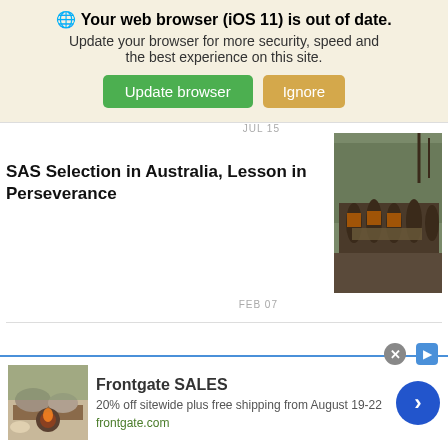🌐 Your web browser (iOS 11) is out of date. Update your browser for more security, speed and the best experience on this site. [Update browser] [Ignore]
JUL 15
SAS Selection in Australia, Lesson in Perseverance
[Figure (photo): Soldiers in military gear carrying heavy equipment through Australian bush terrain]
FEB 07
[Figure (infographic): Advertisement banner: Frontgate SALES - 20% off sitewide plus free shipping from August 19-22. frontgate.com]